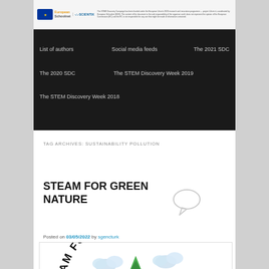European Schoolnet / SCIENTIX - The STEM Discovery Campaign has been funded under the European Union's 2020 research and innovation programme. The content of this document is the sole responsibility of the organizer and it does not represent the opinion of the European Commission and the EU is not responsible for any use that might be made of information contained.
List of authors
Social media feeds
The 2021 SDC
The 2020 SDC
The STEM Discovery Week 2019
The STEM Discovery Week 2018
TAG ARCHIVES: SUSTAINABILITY POLLUTION
STEAM FOR GREEN NATURE
Posted on 03/05/2022 by sgencturk
[Figure (illustration): STEAM FOR GREEN NATURE circular logo with text arranged in an arc, featuring clouds, trees, and colorful educational elements in the center]